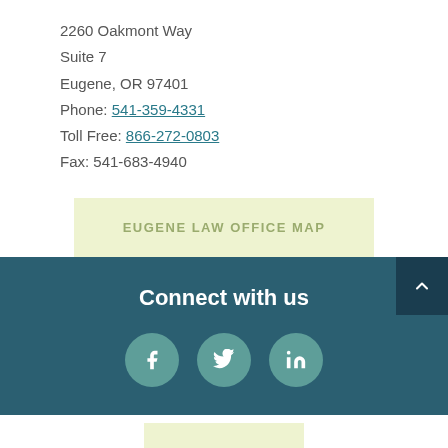2260 Oakmont Way
Suite 7
Eugene, OR 97401
Phone: 541-359-4331
Toll Free: 866-272-0803
Fax: 541-683-4940
EUGENE LAW OFFICE MAP
Connect with us
[Figure (infographic): Three social media icons (Facebook, Twitter, LinkedIn) as teal circles with white icons, plus a scroll-to-top button]
[Figure (other): Partial light green/yellow button at bottom of page]